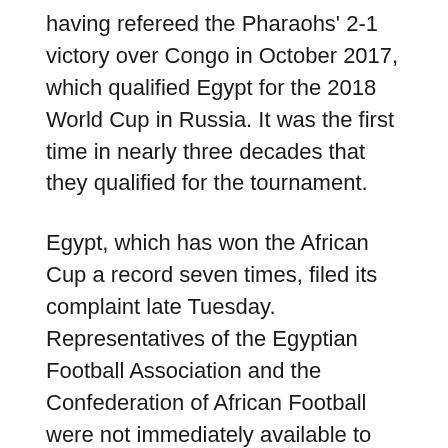having refereed the Pharaohs' 2-1 victory over Congo in October 2017, which qualified Egypt for the 2018 World Cup in Russia. It was the first time in nearly three decades that they qualified for the tournament.
Egypt, which has won the African Cup a record seven times, filed its complaint late Tuesday. Representatives of the Egyptian Football Association and the Confederation of African Football were not immediately available to comment.
The Pharaohs advanced to the semifinals by beating Morocco 2-1 thanks to a goal and an assist from its star Mohamed Salah. Host nation Cameroon progressed with a 2-0 win over Gambia. On Wednesday, Senegal faces Burkina Faso in the first semifinal.
Gassama has also refereed many games for Egypt's giants,